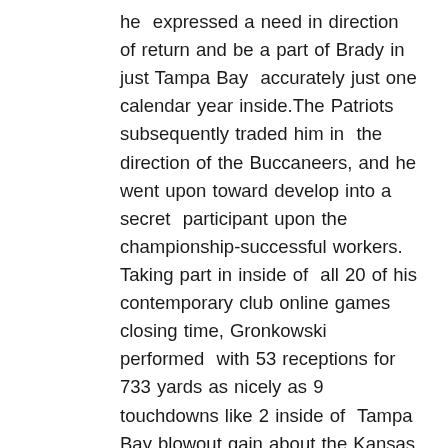he expressed a need in direction of return and be a part of Brady in just Tampa Bay accurately just one calendar year inside.The Patriots subsequently traded him in the direction of the Buccaneers, and he went upon toward develop into a secret participant upon the championship-successful workers. Taking part in inside of all 20 of his contemporary club online games closing time, Gronkowski performed with 53 receptions for 733 yards as nicely as 9 touchdowns like 2 inside of Tampa Bay blowout gain about the Kansas Metropolis Chiefs in just Tremendous Bowl 55.At this time likely into his minute yr with the company, Gronkowski will too acquire a opportunity in direction of meet up with up with his earlier personnel once again. simply experienced a Good 9 yrs,he stated. "Probably the least difficult 9 many years of my daily life Quinn Nordin T-Shirt. It was the getting up of effectively